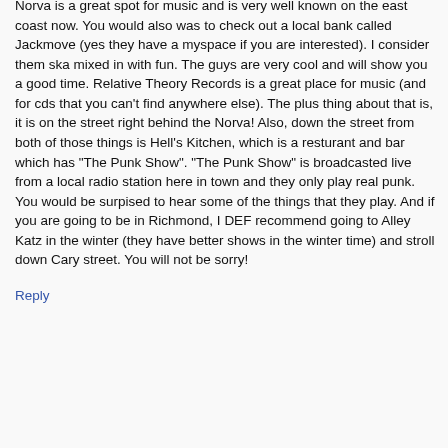Norva is a great spot for music and is very well known on the east coast now. You would also was to check out a local bank called Jackmove (yes they have a myspace if you are interested). I consider them ska mixed in with fun. The guys are very cool and will show you a good time. Relative Theory Records is a great place for music (and for cds that you can't find anywhere else). The plus thing about that is, it is on the street right behind the Norva! Also, down the street from both of those things is Hell's Kitchen, which is a resturant and bar which has "The Punk Show". "The Punk Show" is broadcasted live from a local radio station here in town and they only play real punk. You would be surpised to hear some of the things that they play. And if you are going to be in Richmond, I DEF recommend going to Alley Katz in the winter (they have better shows in the winter time) and stroll down Cary street. You will not be sorry!
Reply